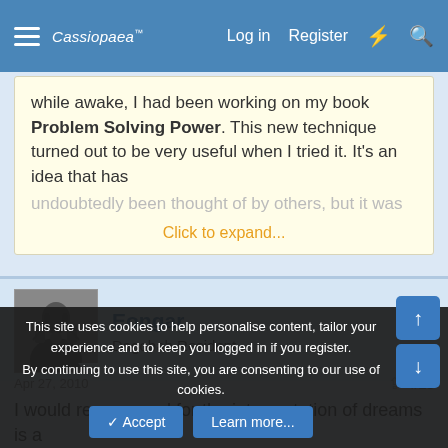Cassiopaea Forum — Log in  Register
while awake, I had been working on my book Problem Solving Power. This new technique turned out to be very useful when I tried it. It's an idea that has undoubtedly been thought of by others, but it was
Click to expand...
Eongar
Dagobah Resident
Apr 27, 2010
#13
I would recommend for the interpretation of dreams is a
This site uses cookies to help personalise content, tailor your experience and to keep you logged in if you register.
By continuing to use this site, you are consenting to our use of cookies.
Accept
Learn more...